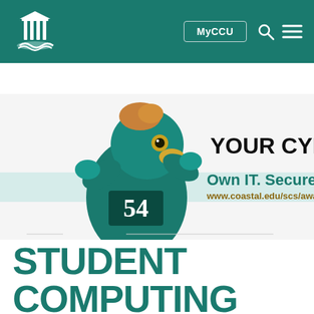MyCCU navigation bar — Coastal Carolina University
IN THIS SECTION
[Figure (screenshot): Coastal Carolina University Cybersecurity Awareness banner featuring the CCU Chanticleer mascot in teal jersey number 54, with text 'YOUR CYBERSECURITY' and 'Own IT. Secure IT. Pr...' and URL 'www.coastal.edu/scs/awar...']
STUDENT COMPUTING